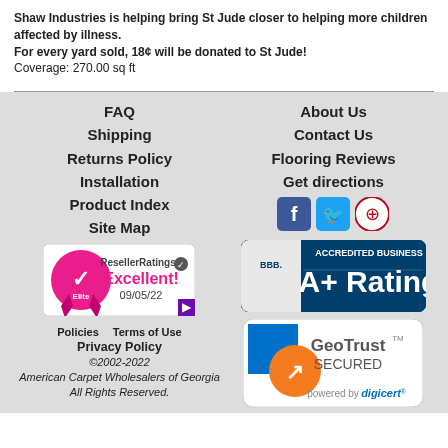Shaw Industries is helping bring St Jude closer to helping more children affected by illness.
For every yard sold, 18¢ will be donated to St Jude!
Coverage: 270.00 sq ft
FAQ
Shipping
Returns Policy
Installation
Product Index
Site Map
About Us
Contact Us
Flooring Reviews
Get directions
[Figure (logo): Social media icons: Facebook, Twitter, Pinterest]
[Figure (logo): ResellerRatings Elite badge - Excellent! 09/05/22]
[Figure (logo): BBB Accredited Business A+ Rating badge]
Policies   Terms of Use
Privacy Policy
©2002-2022
American Carpet Wholesalers of Georgia
All Rights Reserved.
[Figure (logo): GeoTrust Secured powered by digicert badge]